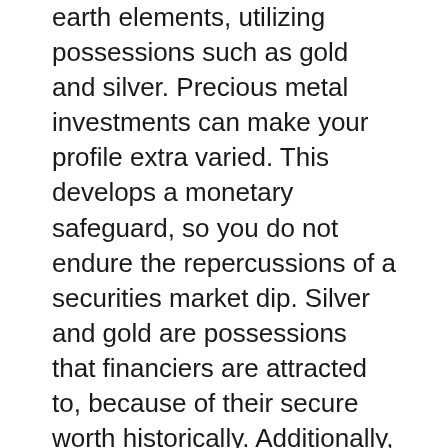earth elements, utilizing possessions such as gold and silver. Precious metal investments can make your profile extra varied. This develops a monetary safeguard, so you do not endure the repercussions of a securities market dip. Silver and gold are possessions that financiers are attracted to, because of their secure worth historically. Additionally, the worth of precious metals tends to raise, when the securities market or economic climate plummets.
There is a continuous need for silver and gold, due to the fact that the demands of production, production as well as technology markets continue enhancing. It is very easy to offer your silver/gold financial investments at a later date, for any type of reason, as